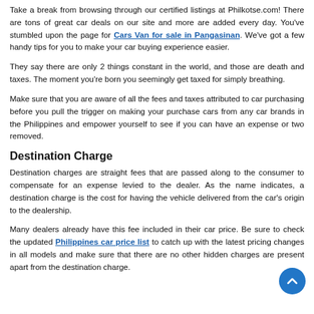Take a break from browsing through our certified listings at Philkotse.com! There are tons of great car deals on our site and more are added every day. You've stumbled upon the page for Cars Van for sale in Pangasinan. We've got a few handy tips for you to make your car buying experience easier.
They say there are only 2 things constant in the world, and those are death and taxes. The moment you're born you seemingly get taxed for simply breathing.
Make sure that you are aware of all the fees and taxes attributed to car purchasing before you pull the trigger on making your purchase cars from any car brands in the Philippines and empower yourself to see if you can have an expense or two removed.
Destination Charge
Destination charges are straight fees that are passed along to the consumer to compensate for an expense levied to the dealer. As the name indicates, a destination charge is the cost for having the vehicle delivered from the car's origin to the dealership.
Many dealers already have this fee included in their car price. Be sure to check the updated Philippines car price list to catch up with the latest pricing changes in all models and make sure that there are no other hidden charges are present apart from the destination charge.